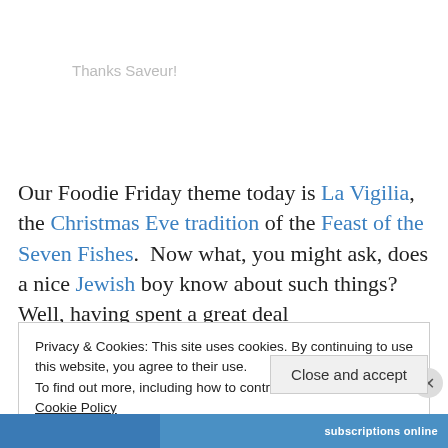Thanks Saveur!
Our Foodie Friday theme today is La Vigilia, the Christmas Eve tradition of the Feast of the Seven Fishes.  Now what, you might ask, does a nice Jewish boy know about such things?  Well, having spent a great deal
Privacy & Cookies: This site uses cookies. By continuing to use this website, you agree to their use.
To find out more, including how to control cookies, see here: Cookie Policy
Close and accept